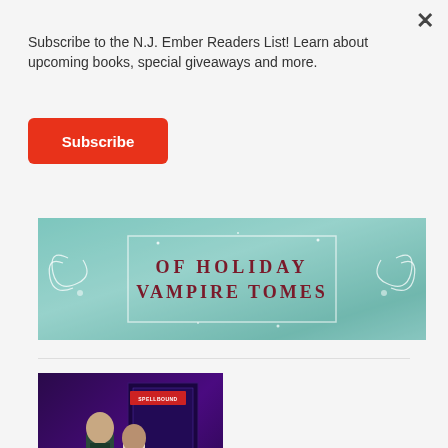×
Subscribe to the N.J. Ember Readers List! Learn about upcoming books, special giveaways and more.
Subscribe
[Figure (illustration): Banner with teal/green misty background showing decorative scroll ornaments and text 'OF HOLIDAY VAMPIRE TOMES' in dark red serif font]
[Figure (illustration): Book cover showing two figures (a man in dark vest and a woman in white tank top) against a purple mystical background with glowing orbs, with 'SPELLBOUND' text at top]